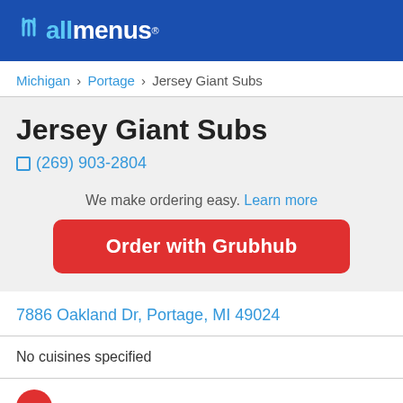allmenus
Michigan > Portage > Jersey Giant Subs
Jersey Giant Subs
(269) 903-2804
We make ordering easy.  Learn more
Order with Grubhub
7886 Oakland Dr, Portage, MI 49024
No cuisines specified